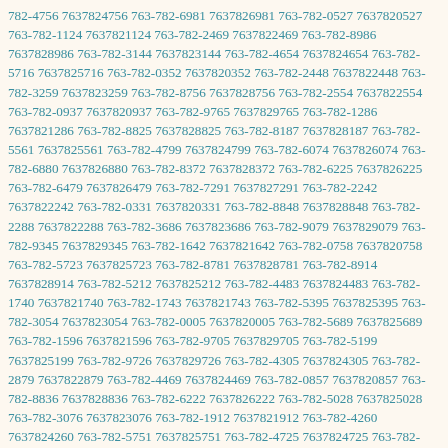782-4756 7637824756 763-782-6981 7637826981 763-782-0527 7637820527 763-782-1124 7637821124 763-782-2469 7637822469 763-782-8986 7637828986 763-782-3144 7637823144 763-782-4654 7637824654 763-782-5716 7637825716 763-782-0352 7637820352 763-782-2448 7637822448 763-782-3259 7637823259 763-782-8756 7637828756 763-782-2554 7637822554 763-782-0937 7637820937 763-782-9765 7637829765 763-782-1286 7637821286 763-782-8825 7637828825 763-782-8187 7637828187 763-782-5561 7637825561 763-782-4799 7637824799 763-782-6074 7637826074 763-782-6880 7637826880 763-782-8372 7637828372 763-782-6225 7637826225 763-782-6479 7637826479 763-782-7291 7637827291 763-782-2242 7637822242 763-782-0331 7637820331 763-782-8848 7637828848 763-782-2288 7637822288 763-782-3686 7637823686 763-782-9079 7637829079 763-782-9345 7637829345 763-782-1642 7637821642 763-782-0758 7637820758 763-782-5723 7637825723 763-782-8781 7637828781 763-782-8914 7637828914 763-782-5212 7637825212 763-782-4483 7637824483 763-782-1740 7637821740 763-782-1743 7637821743 763-782-5395 7637825395 763-782-3054 7637823054 763-782-0005 7637820005 763-782-5689 7637825689 763-782-1596 7637821596 763-782-9705 7637829705 763-782-5199 7637825199 763-782-9726 7637829726 763-782-4305 7637824305 763-782-2879 7637822879 763-782-4469 7637824469 763-782-0857 7637820857 763-782-8836 7637828836 763-782-6222 7637826222 763-782-5028 7637825028 763-782-3076 7637823076 763-782-1912 7637821912 763-782-4260 7637824260 763-782-5751 7637825751 763-782-4725 7637824725 763-782-9937 7637829937 763-782-3431 7637823431 763-